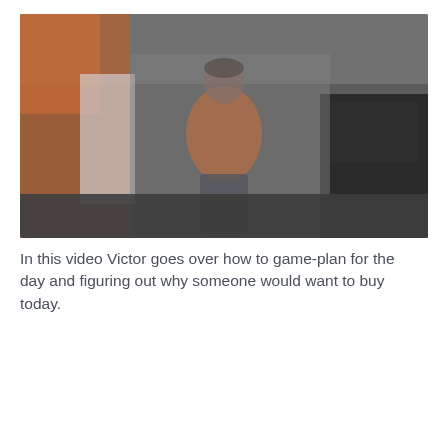[Figure (photo): A blurry photo of a person wearing an orange shirt standing in what appears to be a commercial or industrial space. The background is dark with some orange elements on the left and dark storage or equipment on the right.]
In this video Victor goes over how to game-plan for the day and figuring out why someone would want to buy today.